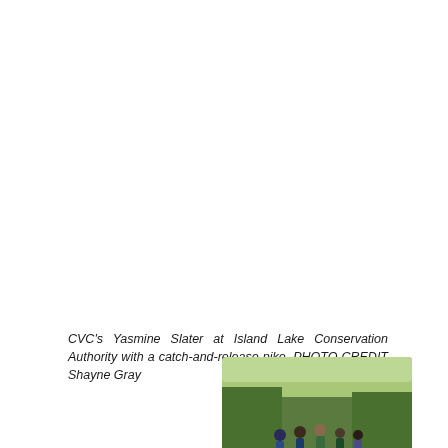CVC's Yasmine Slater at Island Lake Conservation Authority with a catch-and-release pike. PHOTO CREDIT Shayne Gray
[Figure (photo): A group of people standing on a wooden boardwalk surrounded by green vegetation, likely at a conservation area.]